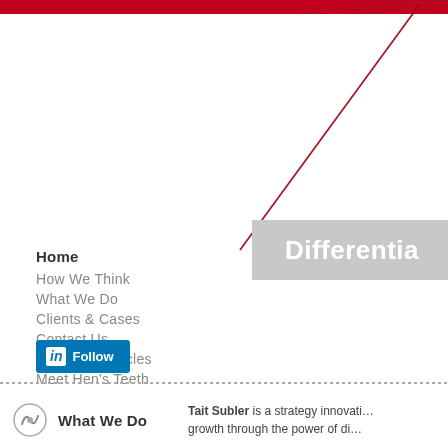[Figure (other): Red top navigation bar and diagonal dark red line graphic with gray 'Differentia' banner in upper right]
Home
How We Think
What We Do
Clients & Cases
Contact Us
Published Articles
Meet Hen's Teeth
[Figure (logo): LinkedIn Follow button in blue]
What We Do    Tait Subler is a strategy innovati… growth through the power of di…